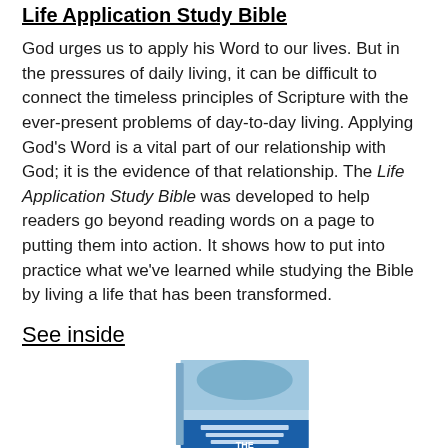Life Application Study Bible
God urges us to apply his Word to our lives. But in the pressures of daily living, it can be difficult to connect the timeless principles of Scripture with the ever-present problems of day-to-day living. Applying God’s Word is a vital part of our relationship with God; it is the evidence of that relationship. The Life Application Study Bible was developed to help readers go beyond reading words on a page to putting them into action. It shows how to put into practice what we’ve learned while studying the Bible by living a life that has been transformed.
See inside
[Figure (photo): Cover of the Life Application Study Bible book, partially visible at the bottom of the page.]